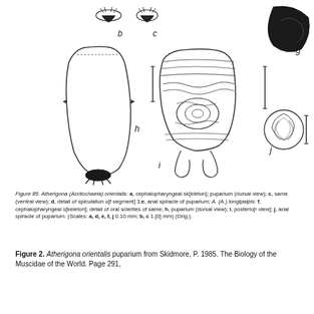[Figure (illustration): Scientific illustration showing anatomical drawings of Atherigona (Acritochaeta) orientalis and A. (A.) longipalpis puparia and related structures. Labels visible: b, c (top row, small insect parts), g (top right, dark wing/body part), h (left center, elongated puparium dorsal view with scale bar), i (center, posterior view of puparium showing spiracles and internal detail), j (right, anal spiracle detail, circular structure with scale bar).]
Figure 85. Atherigona (Acritochaeta) orientalis: a, cephalopharyngeal s[keleton]; puparium (dorsal view); c, same (ventral view); d, detail of spiculation o[f segment] 3;e, anal spiracle of puparium; A. (A.) longipalpis: f, cephalopharyngeal s[keleton]; g, detail of oral sclerites of same; h, puparium (dorsal view); i, posterio[r] view); j, anal spiracle of puparium. (Scales: a, d, e, f, j 0.10 mm; b, c 1.[0] mm) (Orig.).
Figure 2. Atherigona orientalis puparium from Skidmore, P. 1985. The Biology of the Muscidae of the World. Page 291,